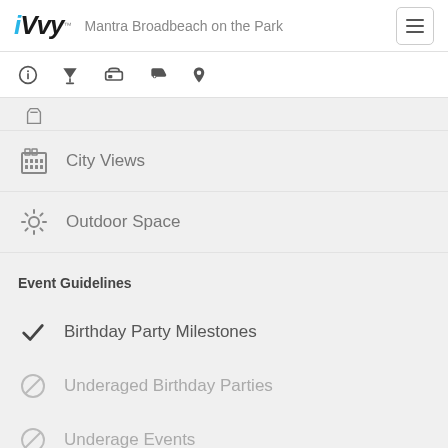iVvy — Mantra Broadbeach on the Park
[Figure (infographic): Navigation icon bar with info, filter, bed, tag, and location pin icons]
City Views
Outdoor Space
Event Guidelines
Birthday Party Milestones (allowed - checkmark)
Underaged Birthday Parties (not allowed - no symbol)
Underage Events (not allowed - no symbol)
Third Party AV Companies (not allowed - no symbol)
Alcoholic Events (not allowed - no symbol, partially visible)